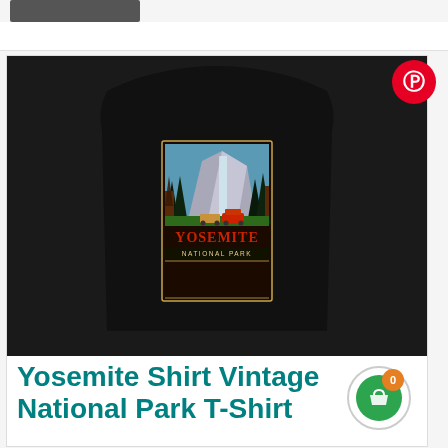[Figure (photo): A black t-shirt with a vintage Yosemite National Park graphic print showing trees, a waterfall, mountains, and a red retro car with camper. The word YOSEMITE appears in large red letters with NATIONAL PARK below it.]
Yosemite Shirt Vintage National Park T-Shirt